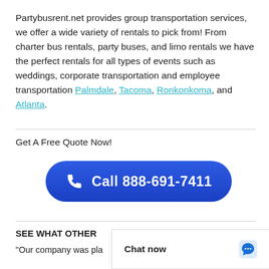Partybusrent.net provides group transportation services, we offer a wide variety of rentals to pick from! From charter bus rentals, party buses, and limo rentals we have the perfect rentals for all types of events such as weddings, corporate transportation and employee transportation Palmdale, Tacoma, Ronkonkoma, and Atlanta.
Get A Free Quote Now!
[Figure (other): Blue rounded rectangle button with phone icon and text 'Call 888-691-7411']
SEE WHAT OTHER
“Our company was pla
[Figure (other): Chat now overlay widget with speech bubble icon]